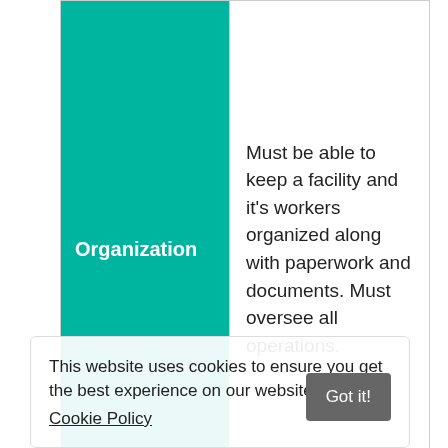| Role | Description |
| --- | --- |
| Organization | Must be able to keep a facility and it's workers organized along with paperwork and documents. Must oversee all operations. |
| Clerical | Must keep records up-to-date and handle scheduling. |
| Research | Be able to study and research practices and procedures to determine the best for their facility. |
This website uses cookies to ensure you get the best experience on our website. Cookie Policy